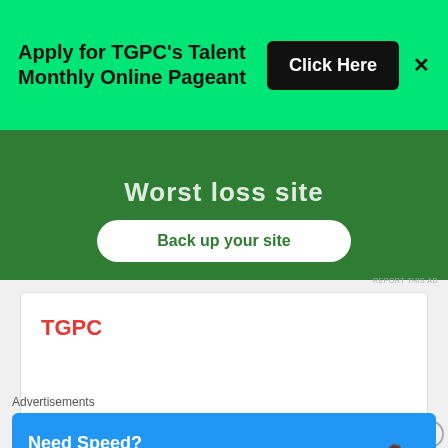[Figure (screenshot): Green banner ad: 'Apply for TGPC's Talent Monthly Online Pageant' with a black 'Click Here' button and an X close button]
[Figure (screenshot): Dark green background ad showing partial text 'Worst loss site' and a white rounded button 'Back up your site']
REPORT THIS AD
TGPC
India's Miss TGPC
Advertisements
[Figure (screenshot): Blue Pressable ad banner: 'Need Speed? Get Pressable' with a running figure]